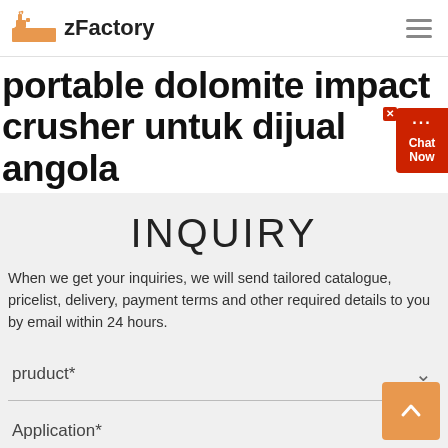zFactory
portable dolomite impact crusher untuk dijual angola
INQUIRY
When we get your inquiries, we will send tailored catalogue, pricelist, delivery, payment terms and other required details to you by email within 24 hours.
pruduct*
Application*
Capacity*